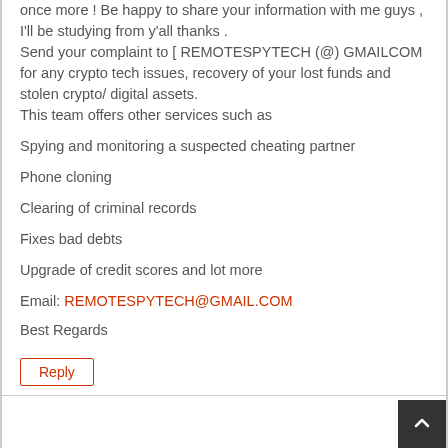once more ! Be happy to share your information with me guys , I'll be studying from y'all thanks . Send your complaint to [ REMOTESPYTECH (@) GMAILCOM for any crypto tech issues, recovery of your lost funds and stolen crypto/ digital assets. This team offers other services such as
Spying and monitoring a suspected cheating partner
Phone cloning
Clearing of criminal records
Fixes bad debts
Upgrade of credit scores and lot more
Email: REMOTESPYTECH@GMAIL.COM
Best Regards